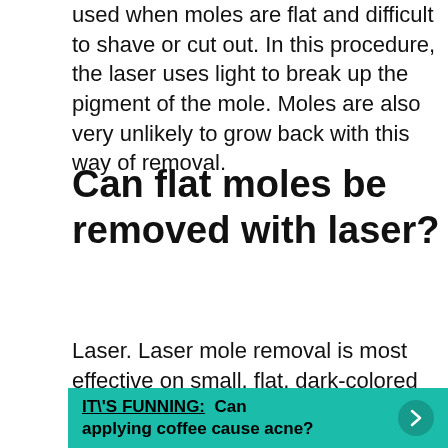used when moles are flat and difficult to shave or cut out. In this procedure, the laser uses light to break up the pigment of the mole. Moles are also very unlikely to grow back with this way of removal.
Can flat moles be removed with laser?
Laser. Laser mole removal is most effective on small, flat, dark-colored moles. This procedure may not remove the entire mole at once, and as such you may require multiple treatments.
IT\'S FUNNING:  Can applying coffee cause acne?